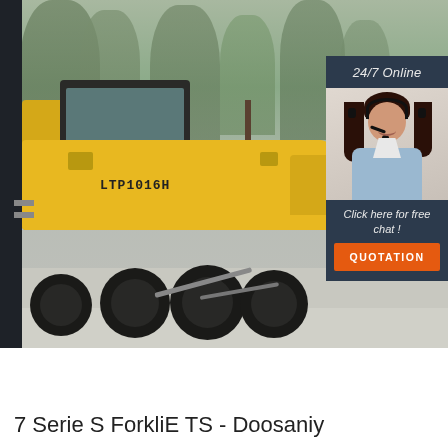[Figure (photo): Large yellow road roller/compactor machine (labeled LTP1016H) parked outdoors with trees in background. A '24/7 Online' live chat widget overlay is positioned on the right side showing a woman with a headset, 'Click here for free chat!' text, and an orange QUOTATION button.]
7 Serie S ForkliE TS - Doosaniy